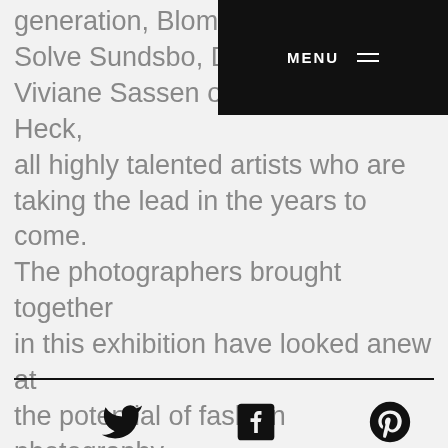generation, Blommer, Solve Sundsbo, Dani, Viviane Sassen or Erik Madigan Heck, all highly talented artists who are taking the lead in the years to come. The photographers brought together in this exhibition have looked anew at the potential of fashion photography and created an imagery that goes far beyond fashion.